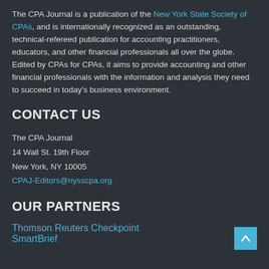The CPA Journal is a publication of the New York State Society of CPAs, and is internationally recognized as an outstanding, technical-refereed publication for accounting practitioners, educators, and other financial professionals all over the globe. Edited by CPAs for CPAs, it aims to provide accounting and other financial professionals with the information and analysis they need to succeed in today's business environment.
CONTACT US
The CPA Journal
14 Wall St. 19th Floor
New York, NY 10005
CPAJ-Editors@nysscpa.org
OUR PARTNERS
Thomson Reuters Checkpoint
SmartBrief